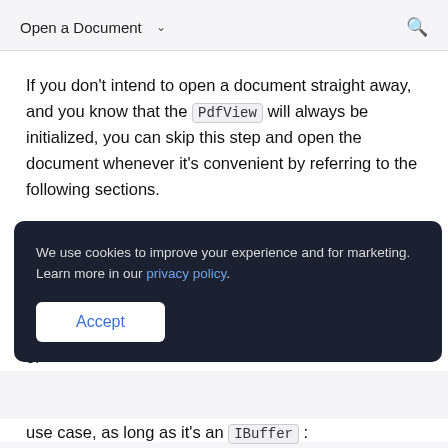Open a Document
If you don’t intend to open a document straight away, and you know that the PdfView will always be initialized, you can skip this step and open the document whenever it’s convenient by referring to the following sections.
O
Fi do re or
[Figure (screenshot): Cookie consent overlay with dark background. Text: 'We use cookies to improve your experience and for marketing. Learn more in our privacy policy.' with an Accept button.]
use case, as long as it’s an IBuffer :